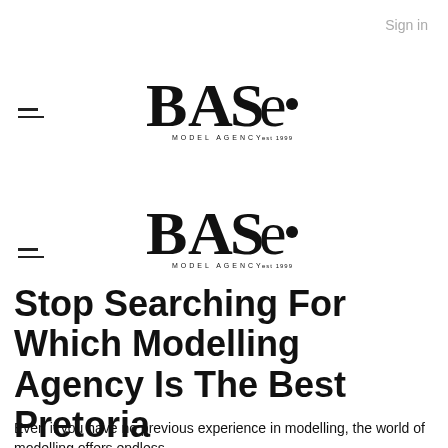Sign in
[Figure (logo): BASE Model Agency logo - decorative serif wordmark with circle element]
[Figure (logo): BASE Model Agency logo - decorative serif wordmark with circle element (second instance)]
Stop Searching For Which Modelling Agency Is The Best Pretoria
Even if you have no previous experience in modelling, the world of modelling offers endless possibilities...